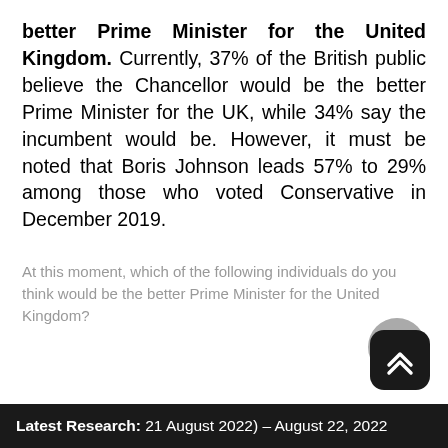better Prime Minister for the United Kingdom. Currently, 37% of the British public believe the Chancellor would be the better Prime Minister for the UK, while 34% say the incumbent would be. However, it must be noted that Boris Johnson leads 57% to 29% among those who voted Conservative in December 2019.
At this moment, which of the following individuals do you think would be the better Prime Minister for the United Kingdom?
Latest Research: 21 August 2022) – August 22, 2022